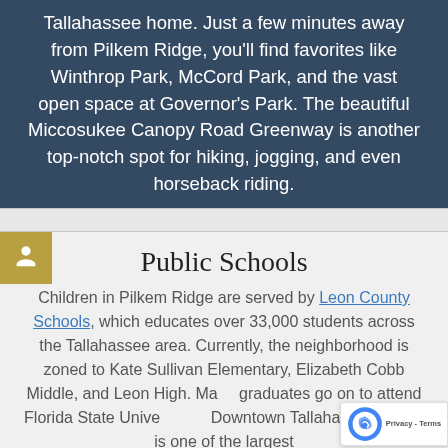Tallahassee home. Just a few minutes away from Pilkem Ridge, you'll find favorites like Winthrop Park, McCord Park, and the vast open space at Governor's Park. The beautiful Miccosukee Canopy Road Greenway is another top-notch spot for hiking, jogging, and even horseback riding.
[Figure (illustration): Person/child icon in a golden-tan square box]
Public Schools
Children in Pilkem Ridge are served by Leon County Schools, which educates over 33,000 students across the Tallahassee area. Currently, the neighborhood is zoned to Kate Sullivan Elementary, Elizabeth Cobb Middle, and Leon High. Many graduates go on to attend Florida State University in Downtown Tallahassee, which is one of the largest